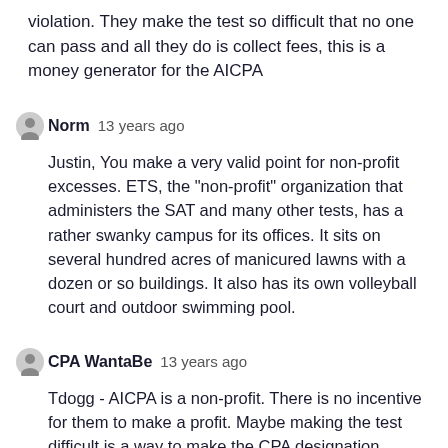violation. They make the test so difficult that no one can pass and all they do is collect fees, this is a money generator for the AICPA
Norm  13 years ago
Justin, You make a very valid point for non-profit excesses. ETS, the "non-profit" organization that administers the SAT and many other tests, has a rather swanky campus for its offices. It sits on several hundred acres of manicured lawns with a dozen or so buildings. It also has its own volleyball court and outdoor swimming pool.
CPA WantaBe  13 years ago
Tdogg - AICPA is a non-profit. There is no incentive for them to make a profit. Maybe making the test difficult is a way to make the CPA designation